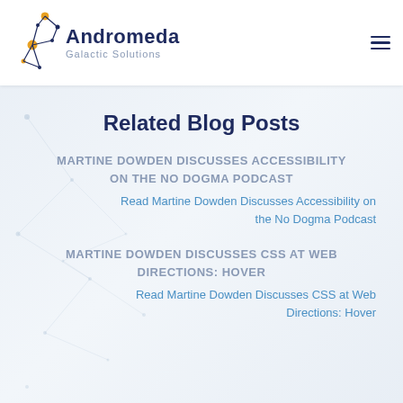[Figure (logo): Andromeda Galactic Solutions logo with network constellation graphic in blue and gold, company name in dark navy]
Related Blog Posts
Martine Dowden Discusses Accessibility on the No Dogma Podcast
Read Martine Dowden Discusses Accessibility on the No Dogma Podcast
Martine Dowden Discusses CSS at Web Directions: Hover
Read Martine Dowden Discusses CSS at Web Directions: Hover